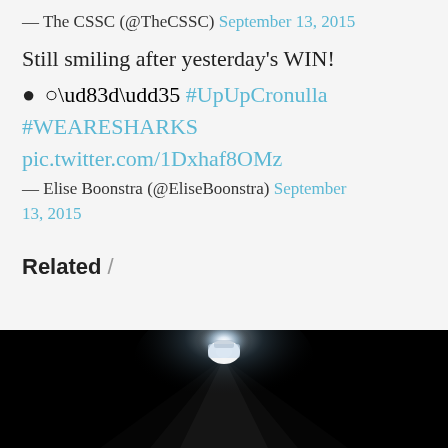— The CSSC (@TheCSSC) September 13, 2015
Still smiling after yesterday's WIN!
● ○\ud83d\udd35 #UpUpCronulla #WEARESHARKS pic.twitter.com/1Dxhaf8OMz
— Elise Boonstra (@EliseBoonstra) September 13, 2015
Related /
[Figure (photo): Dark photo with bright light source/floodlight effect against black background]